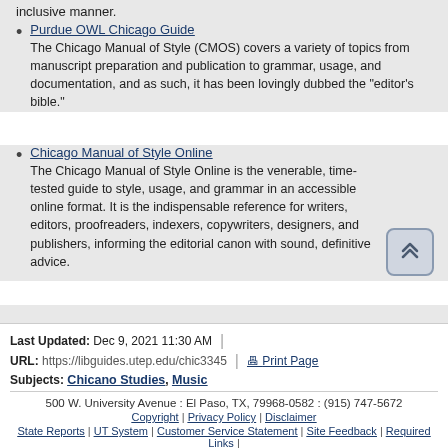inclusive manner.
Purdue OWL Chicago Guide
The Chicago Manual of Style (CMOS) covers a variety of topics from manuscript preparation and publication to grammar, usage, and documentation, and as such, it has been lovingly dubbed the "editor's bible."
Chicago Manual of Style Online
The Chicago Manual of Style Online is the venerable, time-tested guide to style, usage, and grammar in an accessible online format. It is the indispensable reference for writers, editors, proofreaders, indexers, copywriters, designers, and publishers, informing the editorial canon with sound, definitive advice.
Last Updated: Dec 9, 2021 11:30 AM
URL: https://libguides.utep.edu/chic3345
Print Page | Login to LibApps | Report a problem
Subjects: Chicano Studies, Music
500 W. University Avenue : El Paso, TX, 79968-0582 : (915) 747-5672
Copyright | Privacy Policy | Disclaimer
State Reports | UT System | Customer Service Statement | Site Feedback | Required Links |